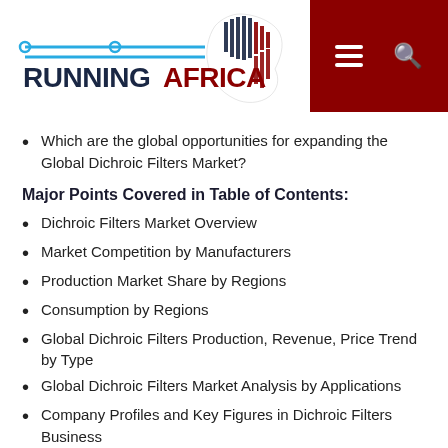RUNNINGAFRICA logo with navigation
Which are the global opportunities for expanding the Global Dichroic Filters Market?
Major Points Covered in Table of Contents:
Dichroic Filters Market Overview
Market Competition by Manufacturers
Production Market Share by Regions
Consumption by Regions
Global Dichroic Filters Production, Revenue, Price Trend by Type
Global Dichroic Filters Market Analysis by Applications
Company Profiles and Key Figures in Dichroic Filters Business